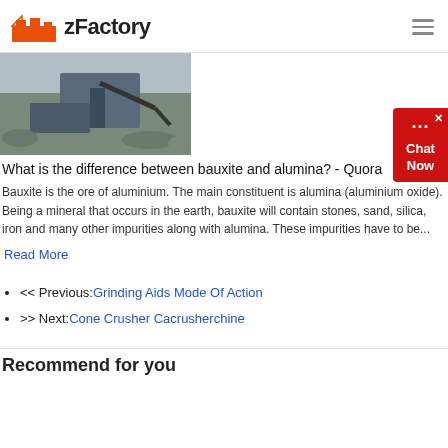zFactory
[Figure (photo): Outdoor industrial scene showing heavy machinery and excavation equipment on a rocky/gravel site]
What is the difference between bauxite and alumina? - Quora
Bauxite is the ore of aluminium. The main constituent is alumina (aluminium oxide). Being a mineral that occurs in the earth, bauxite will contain stones, sand, silica, iron and many other impurities along with alumina. These impurities have to be...
Read More
<< Previous: Grinding Aids Mode Of Action
>> Next: Cone Crusher Cacrusherchine
Recommend for you